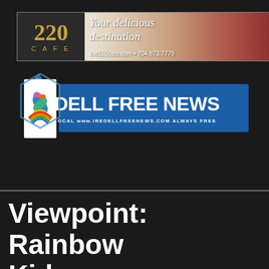[Figure (other): 220 Cafe advertisement banner with script text 'Your delicious destination' and URL the220cafe.com • 704.873.7779]
[Figure (logo): Iredell Free News logo — colorful leaf/flower icon on left, blue banner with white bold text 'IREDELL FREE NEWS', tagline 'ALWAYS LOCAL  www.IREDELLFREENEWS.COM  ALWAYS FREE']
[Figure (infographic): Three horizontal orange lines forming a hamburger/navigation menu icon]
Viewpoint: Rainbow Kidz program